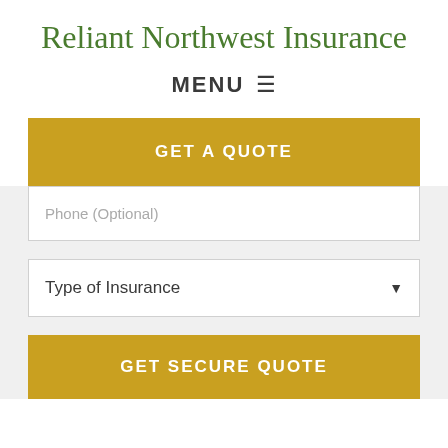Reliant Northwest Insurance
MENU ≡
GET A QUOTE
Phone (Optional)
Type of Insurance
GET SECURE QUOTE